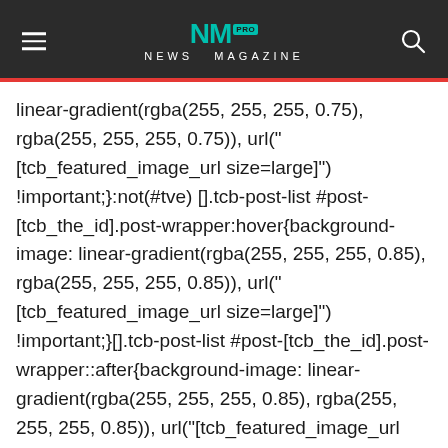NEWS MAGAZINE
linear-gradient(rgba(255, 255, 255, 0.75), rgba(255, 255, 255, 0.75)), url("[tcb_featured_image_url size=large]") !important;}:not(#tve) [].tcb-post-list #post-[tcb_the_id].post-wrapper:hover{background-image: linear-gradient(rgba(255, 255, 255, 0.85), rgba(255, 255, 255, 0.85)), url("[tcb_featured_image_url size=large]") !important;}[].tcb-post-list #post-[tcb_the_id].post-wrapper::after{background-image: linear-gradient(rgba(255, 255, 255, 0.85), rgba(255, 255, 255, 0.85)), url("[tcb_featured_image_url size=full]");}[].tcb-post-list #post-[tcb_the_id] []{background-image: linear-gradient(rgba(255, 255, 255, 0.1), rgba(255, 255, 255, 0.1)), url("[tcb_featured_image_url size=large]") !important;}[].tcb-post-list #post-[tcb_the_id] []:hover []{background-image: linear-gradient(rgba(255, 255, 255, 0.15), rgba(255, 255, 255, 0.15)), url("[tcb_featured_image_url size=large]") !important;}